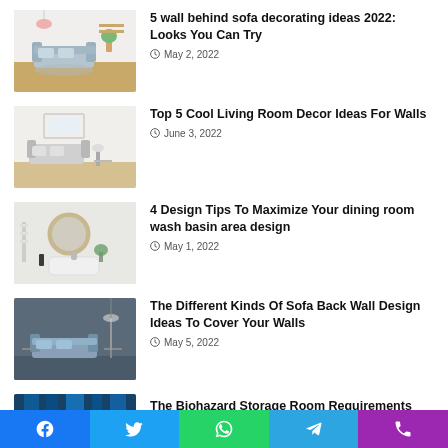5 wall behind sofa decorating ideas 2022: Looks You Can Try — May 2, 2022
Top 5 Cool Living Room Decor Ideas For Walls — June 3, 2022
4 Design Tips To Maximize Your dining room wash basin area design — May 1, 2022
The Different Kinds Of Sofa Back Wall Design Ideas To Cover Your Walls — May 5, 2022
The Biohazard Storage Room Requirements
[Figure (infographic): Social sharing bar with Facebook, Twitter, WhatsApp, Telegram, and phone/call icons]